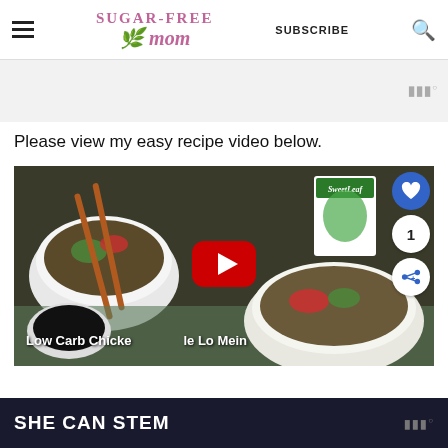Sugar-Free Mom — SUBSCRIBE
[Figure (screenshot): Ad placeholder area with Mediavine logo badge on right]
Please view my easy recipe video below.
[Figure (screenshot): YouTube video thumbnail showing Low Carb Chicken Zoodle Lo Mein recipe with bowls of colorful stir-fry noodles, chopsticks, soy sauce, SweetLeaf product, and a red YouTube play button overlay. Social buttons (heart/like count 1/share) shown on right side.]
[Figure (screenshot): Bottom advertisement banner: dark navy background with white bold text 'SHE CAN STEM' and Mediavine badge on right]